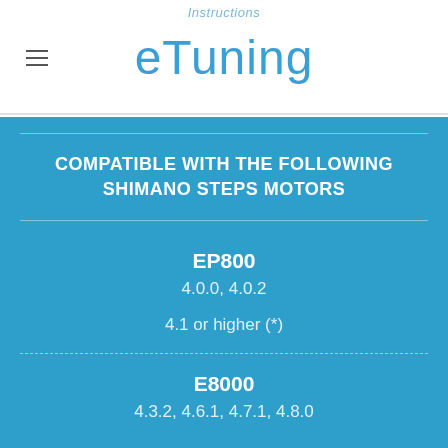Instructions
eTuning
COMPATIBLE WITH THE FOLLOWING SHIMANO STEPS MOTORS
EP800
4.0.0, 4.0.2
4.1 or higher (*)
E8000
4.3.2, 4.6.1, 4.7.1, 4.8.0